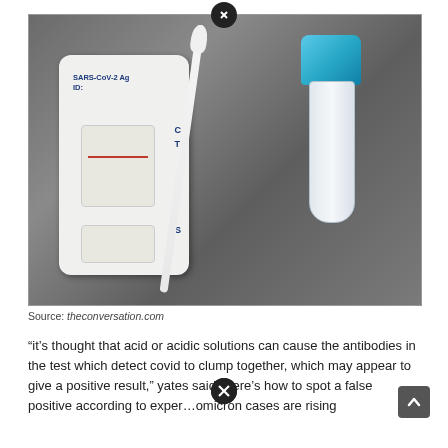[Figure (photo): A SARS-CoV-2 antigen rapid test device showing a positive result (C line visible) alongside a swab and sample collection tube with blue cap, placed on a gray textured surface.]
Source: theconversation.com
“it’s thought that acid or acidic solutions can cause the antibodies in the test which detect covid to clump together, which may appear to give a positive result,” yates said. Here’s how to spot a false positive according to exper…omicron cases are rising